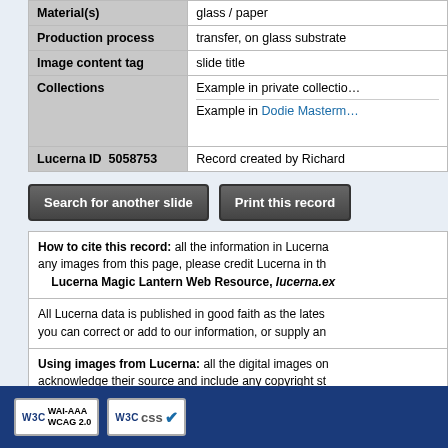| Field | Value |
| --- | --- |
| Material(s) | glass / paper |
| Production process | transfer, on glass substrate |
| Image content tag | slide title |
| Collections | Example in private collection
Example in Dodie Masterm… |
| Lucerna ID  5058753 | Record created by Richard |
Search for another slide | Print this record
How to cite this record: all the information in Lucerna any images from this page, please credit Lucerna in th Lucerna Magic Lantern Web Resource, lucerna.ex
All Lucerna data is published in good faith as the lates you can correct or add to our information, or supply an
Using images from Lucerna: all the digital images on acknowledge their source and include any copyright st print reproduction or projection. If you need a higher-re
[Figure (logo): W3C WAI-AAA WCAG 2.0 badge]
[Figure (logo): W3C CSS validation badge with blue checkmark]